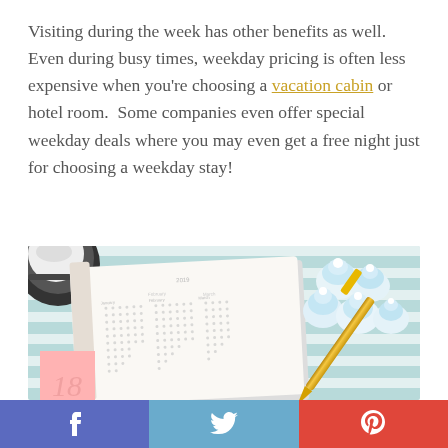Visiting during the week has other benefits as well. Even during busy times, weekday pricing is often less expensive when you're choosing a vacation cabin or hotel room. Some companies even offer special weekday deals where you may even get a free night just for choosing a weekday stay!
[Figure (photo): Overhead photo of an open planner/bullet journal with 2019 calendar spread, coffee cup top-left, blue and white meringue candies top-right, gold pen bottom-right, on a teal striped background. A pink number '18' tab is visible bottom-left.]
Facebook | Twitter | Pinterest social sharing buttons